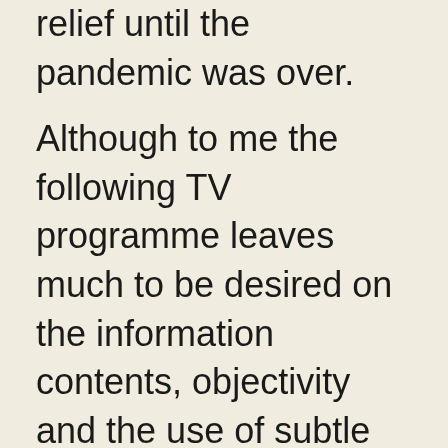relief until the pandemic was over.
Although to me the following TV programme leaves much to be desired on the information contents, objectivity and the use of subtle propaganda techniques, it nevertheless represents some progress from previous footages.  An earlier TVN Fakty airing has cut our logo and web address from our flyer and subtly suggested “use of children” in our campaign, echoing agent provocateurs’ suggestions of Bein’s pedophilia. The same program described our efforts as those of “half-educated intellectuals” who should be banned